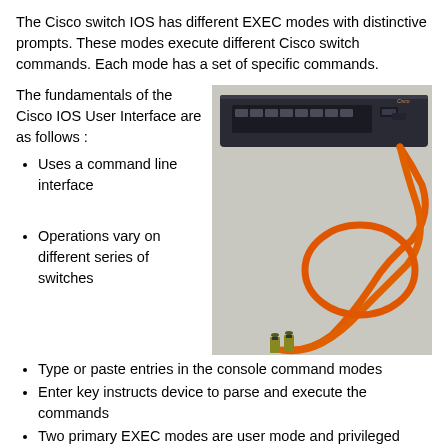The Cisco switch IOS has different EXEC modes with distinctive prompts. These modes execute different Cisco switch commands. Each mode has a set of specific commands.
The fundamentals of the Cisco IOS User Interface are as follows :
[Figure (photo): Photo of a Cisco network switch (dark colored, rack-mounted style) with orange fiber optic cables connected, coiled on a white surface.]
Uses a command line interface
Operations vary on different series of switches
Type or paste entries in the console command modes
Enter key instructs device to parse and execute the commands
Two primary EXEC modes are user mode and privileged mode